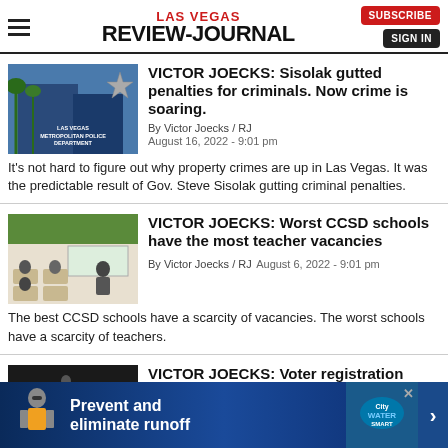LAS VEGAS REVIEW-JOURNAL | SUBSCRIBE | SIGN IN
VICTOR JOECKS: Sisolak gutted penalties for criminals. Now crime is soaring.
By Victor Joecks / RJ
August 16, 2022 - 9:01 pm
It's not hard to figure out why property crimes are up in Las Vegas. It was the predictable result of Gov. Steve Sisolak gutting criminal penalties.
VICTOR JOECKS: Worst CCSD schools have the most teacher vacancies
By Victor Joecks / RJ  August 6, 2022 - 9:01 pm
The best CCSD schools have a scarcity of vacancies. The worst schools have a scarcity of teachers.
VICTOR JOECKS: Voter registration stats show
[Figure (photo): Advertisement: Prevent and eliminate runoff - City Water Smart]